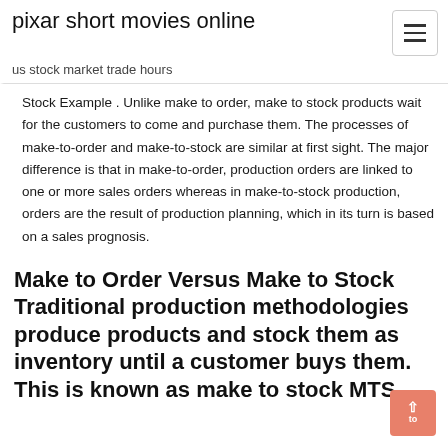pixar short movies online
us stock market trade hours
Stock Example . Unlike make to order, make to stock products wait for the customers to come and purchase them. The processes of make-to-order and make-to-stock are similar at first sight. The major difference is that in make-to-order, production orders are linked to one or more sales orders whereas in make-to-stock production, orders are the result of production planning, which in its turn is based on a sales prognosis.
Make to Order Versus Make to Stock Traditional production methodologies produce products and stock them as inventory until a customer buys them. This is known as make to stock MTS